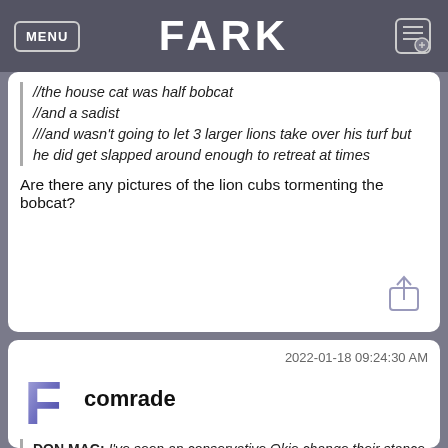MENU | FARK
//the house cat was half bobcat
//and a sadist
///and wasn't going to let 3 larger lions take over his turf but he did get slapped around enough to retreat at times
Are there any pictures of the lion cubs tormenting the bobcat?
2022-01-18 09:24:30 AM
comrade
DON.MAC: I've seen an conservative Okie change their stance on something.

I meet a couple on a dive boat off Australia.  He was a doctor from Tulsa and she was much younger and very